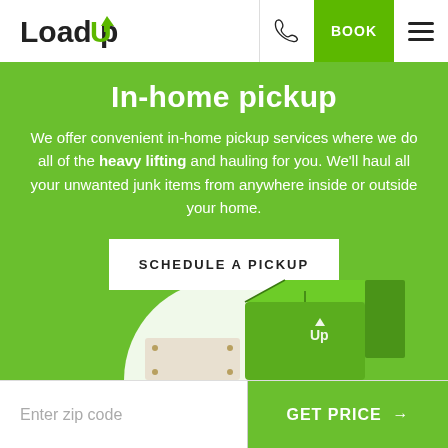LoadUp | BOOK
In-home pickup
We offer convenient in-home pickup services where we do all of the heavy lifting and hauling for you. We'll haul all your unwanted junk items from anywhere inside or outside your home.
SCHEDULE A PICKUP
[Figure (illustration): Green delivery truck or box illustration with LoadUp branding]
Enter zip code | GET PRICE →